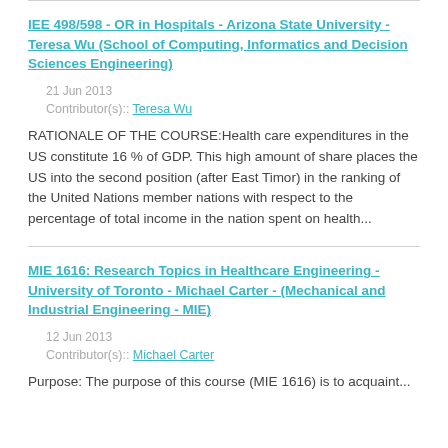IEE 498/598 - OR in Hospitals - Arizona State University - Teresa Wu (School of Computing, Informatics and Decision Sciences Engineering)
21 Jun 2013
Contributor(s):: Teresa Wu
RATIONALE OF THE COURSE:Health care expenditures in the US constitute 16 % of GDP. This high amount of share places the US into the second position (after East Timor) in the ranking of the United Nations member nations with respect to the percentage of total income in the nation spent on health...
MIE 1616: Research Topics in Healthcare Engineering - University of Toronto - Michael Carter - (Mechanical and Industrial Engineering - MIE)
12 Jun 2013
Contributor(s):: Michael Carter
Purpose: The purpose of this course (MIE 1616) is to acquaint...